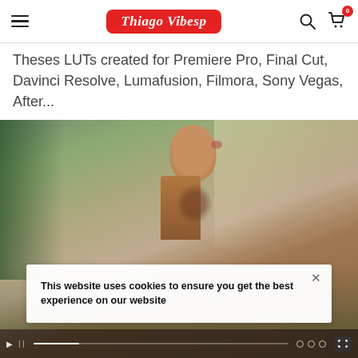Thiago Vibesp — navigation header with hamburger menu, logo, search and cart icons
Theses LUTs created for Premiere Pro, Final Cut, Davinci Resolve, Lumafusion, Filmora, Sony Vegas, After...
[Figure (screenshot): Video player showing a young indigenous person with face paint and bead necklace against a jungle background. A cookie consent banner overlays the bottom portion reading: This website uses cookies to ensure you get the best experience on our website. Video controls are visible at the bottom.]